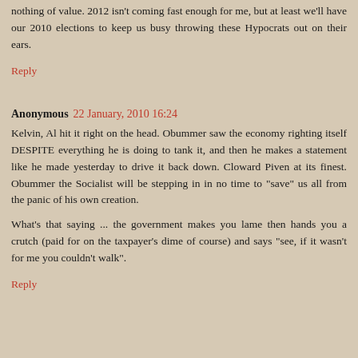nothing of value. 2012 isn't coming fast enough for me, but at least we'll have our 2010 elections to keep us busy throwing these Hypocrats out on their ears.
Reply
Anonymous 22 January, 2010 16:24
Kelvin, Al hit it right on the head. Obummer saw the economy righting itself DESPITE everything he is doing to tank it, and then he makes a statement like he made yesterday to drive it back down. Cloward Piven at its finest. Obummer the Socialist will be stepping in in no time to "save" us all from the panic of his own creation.
What's that saying ... the government makes you lame then hands you a crutch (paid for on the taxpayer's dime of course) and says "see, if it wasn't for me you couldn't walk".
Reply